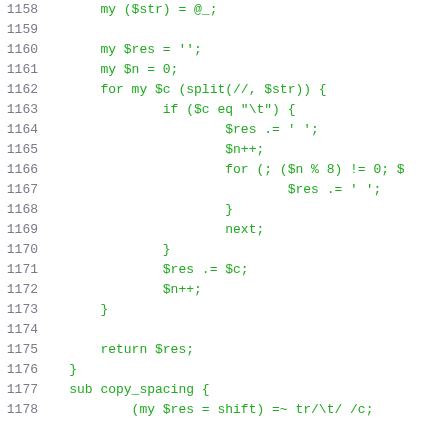Code listing lines 1158-1178 showing Perl subroutine code for string processing with tab expansion and copy_spacing